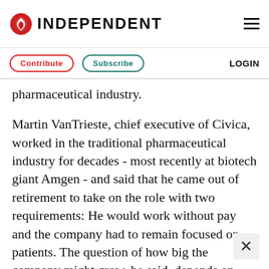INDEPENDENT
Contribute   Subscribe   LOGIN
pharmaceutical industry.
Martin VanTrieste, chief executive of Civica, worked in the traditional pharmaceutical industry for decades - most recently at biotech giant Amgen - and said that he came out of retirement to take on the role with two requirements: He would work without pay and the company had to remain focused on patients. The question of how big the company might grow, he said, depends on how the market reacts.